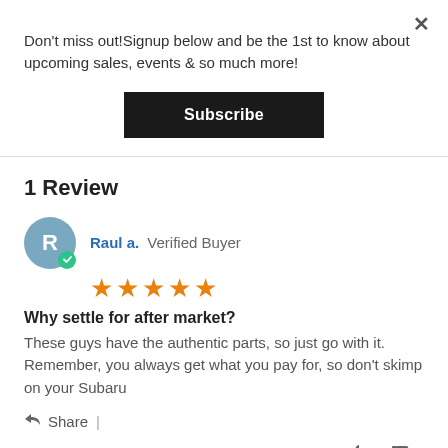Don't miss out!Signup below and be the 1st to know about upcoming sales, events & so much more!
Subscribe
1 Review
Raul a. Verified Buyer
Why settle for after market?
These guys have the authentic parts, so just go with it. Remember, you always get what you pay for, so don't skimp on your Subaru
Share |
04/18/20   0   0